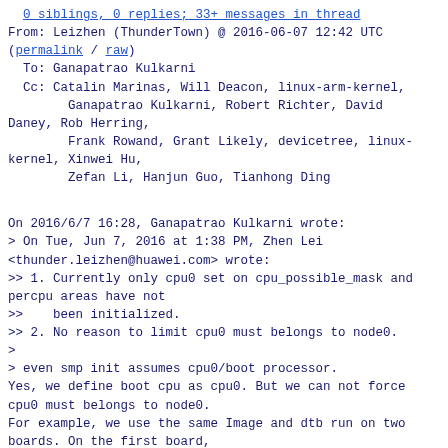0 siblings, 0 replies; 33+ messages in thread
From: Leizhen (ThunderTown) @ 2016-06-07 12:42 UTC
(permalink / raw)
  To: Ganapatrao Kulkarni
  Cc: Catalin Marinas, Will Deacon, linux-arm-kernel,
        Ganapatrao Kulkarni, Robert Richter, David Daney, Rob Herring,
        Frank Rowand, Grant Likely, devicetree, linux-kernel, Xinwei Hu,
        Zefan Li, Hanjun Guo, Tianhong Ding
On 2016/6/7 16:28, Ganapatrao Kulkarni wrote:
> On Tue, Jun 7, 2016 at 1:38 PM, Zhen Lei
<thunder.leizhen@huawei.com> wrote:
>> 1. Currently only cpu0 set on cpu_possible_mask and percpu areas have not
>>     been initialized.
>> 2. No reason to limit cpu0 must belongs to node0.
>
> even smp init assumes cpu0/boot processor.
Yes, we define boot cpu as cpu0. But we can not force cpu0 must belongs to node0.
For example, we use the same Image and dtb run on two boards. On the first board,
BIOS choose cpu-A as boot cpu. But on the other board, BIOS may choose CPU-B as
boot cpu. Although this case is difficult to appear, but we can not sure that it